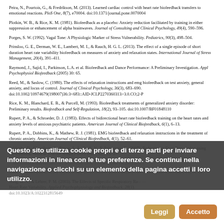Peira, N., Pourtois, G., & Fredrikson, M. (2013). Learned cardiac control with heart rate biofeedback transfers to emotional reactions. PloS One, 8(7), e70004. doi:10.1371/journal.pone.0070004
Plotkin, W. B., & Rice, K. M. (1981). Biofeedback as a placebo: Anxiety reduction facilitated by training in either suppression or enhancement of alpha brainwaves. Journal of Consulting and Clinical Psychology, 49(4), 590–596.
Porges, S. W. (1992). Vagal Tone: A Physiologic Marker of Stress Vulnerability. Pediatrics, 90(3), 498–504.
Prinsloo, G. E., Derman, W. E., Lambert, M. I., & Rauch, H. G. L. (2013). The effect of a single episode of short duration heart rate variability biofeedback on measures of anxiety and relaxation states. International Journal of Stress Management, 20(4), 391–411.
Raymond, J., Sajid, I., Parkinson, L.A. et al. Biofeedback and Dance Performance: A Preliminary Investigation. Appl Psychophysiol Biofeedback (2005) 30: 65.
Reed, M., & Saslow, C. (1980). The effects of relaxation instructions and emg biofeedback on test anxiety, general anxiety, and locus of control. Journal of Clinical Psychology, 36(3), 683–690. doi:10.1002/10974679(198007)36:3<683::AID-JCLP2270360313>3.0.CO;2-P
Rice, K. M., Blanchard, E. B., & Purcell, M. (1993). Biofeedback treatments of generalized anxiety disorder: Preliminary results. Biofeedback and Self-Regulation, 18(2), 93–105. doi:10.1007/BF01848110
Rupert, P. A., & Schroeder, D. J. (1983). Effects of bidirectional heart rate biofeedback training on the heart rates and anxiety levels of anxious psychiatric patients. American Journal of Clinical Biofeedback, 6(1), 6–13.
Rupert, P. A., Dobbins, K., & Mathew, R. J. (1981). EMG biofeedback and relaxation instructions in the treatment of chronic anxiety. American Journal of Clinical Biofeedback, 4(1), 52–61.
Saldanha, D., Chaudhury, S., Pawar, A. A., Ryali, V., & Srivastava, K. (2007). Reduction in Drug Prescription using Biofeedback. Medical Journal Armed Forces India, 63, 315–317.
[partially obscured] ...atic ... biofeedback analysis and two techniques. DOI: 10.1504/IJMIVR.2010.D313
Sonet E. Biofeedbacks-aided hypnotherapy for intractable phobic anxiety. Am J Clin Hypn. 1995 Jan;37(3):54–62.
Song, H.-S., & Lehrer, P. M. (2003). The Effects of Specific Respiratory Rates on Heart Rate Variability. Applied Psychophysiology and Biofeedback, 28(1). doi:10.1023/A:1022312815649
Questo sito utilizza cookie propri e di terze parti per inviare informazioni in linea con le tue preferenze. Se continui nella navigazione o clicchi su un elemento della pagina accetti il loro utilizzo.